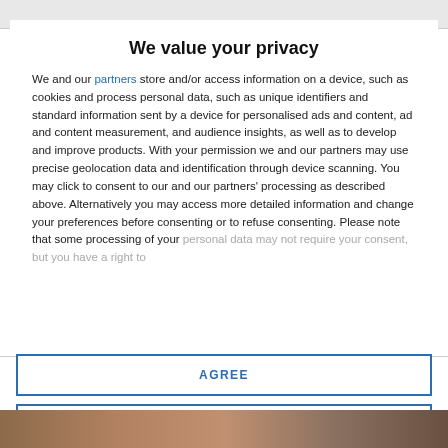We value your privacy
We and our partners store and/or access information on a device, such as cookies and process personal data, such as unique identifiers and standard information sent by a device for personalised ads and content, ad and content measurement, and audience insights, as well as to develop and improve products. With your permission we and our partners may use precise geolocation data and identification through device scanning. You may click to consent to our and our partners' processing as described above. Alternatively you may access more detailed information and change your preferences before consenting or to refuse consenting. Please note that some processing of your personal data may not require your consent, but you have a right to
AGREE
MORE OPTIONS
[Figure (photo): Bottom strip showing a photo of people, partially visible]